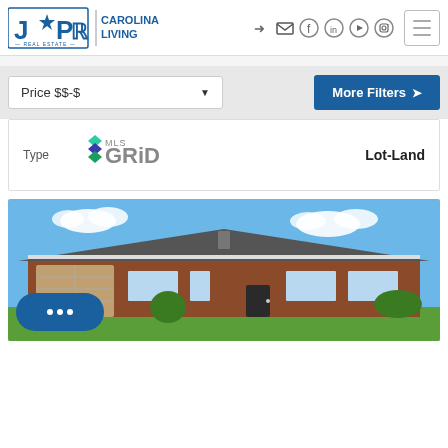[Figure (logo): JPAR Real Estate Carolina Living logo with blue star and text]
[Figure (screenshot): Navigation icons: login, email, Facebook, LinkedIn, YouTube, Instagram]
[Figure (other): Hamburger menu button]
Price $$-$
More Filters ▾
Type
[Figure (logo): MLS GRID logo with colorful stacked diamond shapes]
Lot-Land
[Figure (photo): Photo of a single-story brick ranch house with green lawn and blue sky]
[Figure (other): Chat button with three dots]